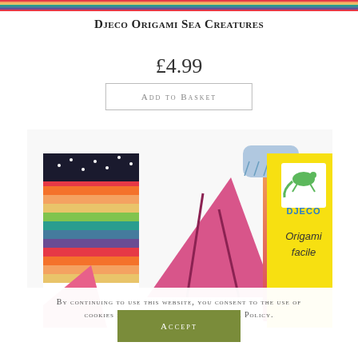[Figure (illustration): Colorful horizontal rainbow stripe banner at the very top of the page]
Djeco Origami Sea Creatures
£4.99
Add to basket
[Figure (photo): Product photo of Djeco Origami Sea Creatures kit showing colorful origami paper pieces, a pink mountain/triangle fold, a gradient orange-pink folded piece, and the yellow Djeco Origami facile box with a lizard/gecko logo]
By continuing to use this website, you consent to the use of cookies in accordance with our Cookie Policy.
Accept